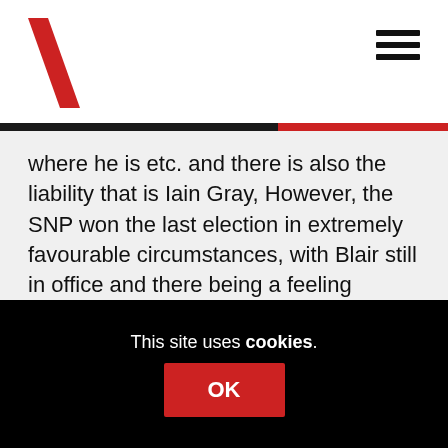where he is etc. and there is also the liability that is Iain Gray, However, the SNP won the last election in extremely favourable circumstances, with Blair still in office and there being a feeling around in Scotland that it was ‘time for a change’, Even then they won by the narrowest of margins. Labour continues to command the loyalty of large swathes of voters in the central belt and always will do unless something major changes. So I think it is incumbent on, us after we’ve poked some fun at them, to prepare for a very close contest next May. I hope to be back in Scotland by then and to be able to participate in...
This site uses cookies.
OK